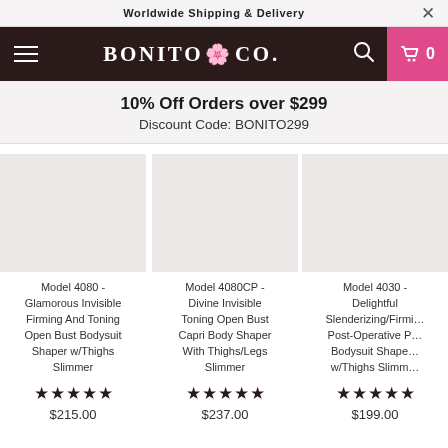Worldwide Shipping & Delivery
[Figure (logo): Bonito & Co. logo on dark brown navigation bar with hamburger menu, search icon, and pink cart area showing 0 items]
10% Off Orders over $299
Discount Code: BONITO299
Model 4080 - Glamorous Invisible Firming And Toning Open Bust Bodysuit Shaper w/Thighs Slimmer
★★★★★
$215.00
Model 4080CP - Divine Invisible Toning Open Bust Capri Body Shaper With Thighs/Legs Slimmer
★★★★★
$237.00
Model 4030 - Delightful Slenderizing/Firming Post-Operative Bodysuit Shaper w/Thighs Slimmer
★★★★★
$199.00